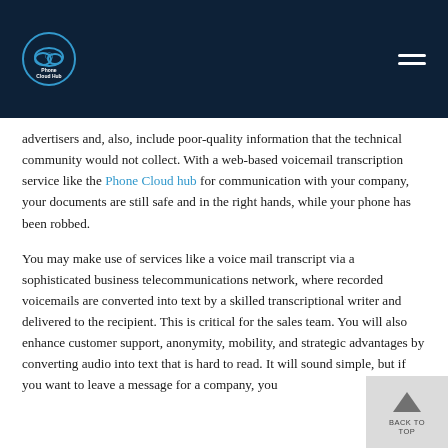[Figure (logo): Phone Cloud Hub logo — blue cloud with phone icon, white text, dark navy background header with hamburger menu icon]
advertisers and, also, include poor-quality information that the technical community would not collect. With a web-based voicemail transcription service like the Phone Cloud hub for communication with your company, your documents are still safe and in the right hands, while your phone has been robbed.
You may make use of services like a voice mail transcript via a sophisticated business telecommunications network, where recorded voicemails are converted into text by a skilled transcriptional writer and delivered to the recipient. This is critical for the sales team. You will also enhance customer support, anonymity, mobility, and strategic advantages by converting audio into text that is hard to read. It will sound simple, but if you want to leave a message for a company, you